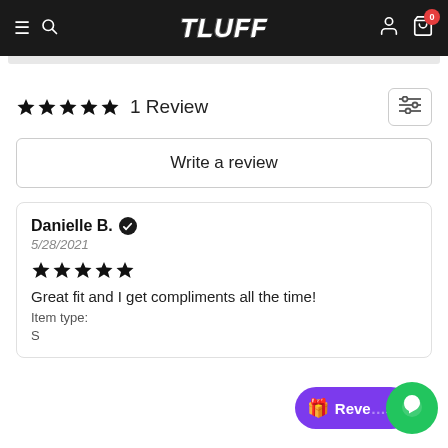TLFF navigation bar with hamburger, search, logo, account, and cart icons
★★★★★ 1 Review
Write a review
Danielle B. ✔
5/28/2021
★★★★★
Great fit and I get compliments all the time!
Item type:
S
🎁 Rewards